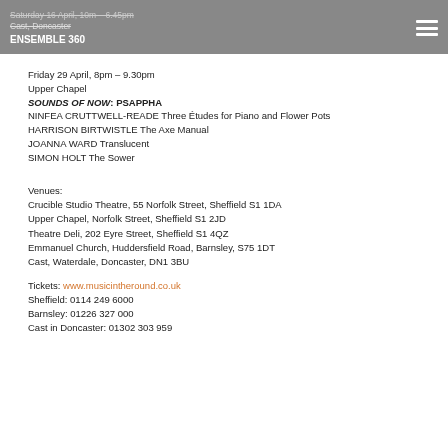Saturday 16 April, 10m – 6.45pm
Cast, Doncaster
ENSEMBLE 360
Friday 29 April, 8pm – 9.30pm
Upper Chapel
SOUNDS OF NOW: PSAPPHA
NINFEA CRUTTWELL-READE Three Études for Piano and Flower Pots
HARRISON BIRTWISTLE The Axe Manual
JOANNA WARD Translucent
SIMON HOLT The Sower
Venues:
Crucible Studio Theatre, 55 Norfolk Street, Sheffield S1 1DA
Upper Chapel, Norfolk Street, Sheffield S1 2JD
Theatre Deli, 202 Eyre Street, Sheffield S1 4QZ
Emmanuel Church, Huddersfield Road, Barnsley, S75 1DT
Cast, Waterdale, Doncaster, DN1 3BU
Tickets: www.musicintheround.co.uk
Sheffield: 0114 249 6000
Barnsley: 01226 327 000
Cast in Doncaster: 01302 303 959